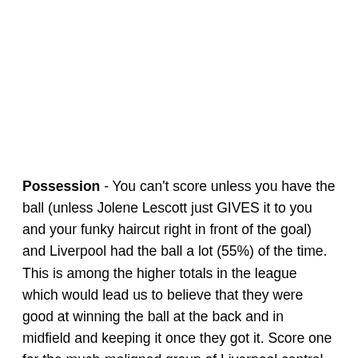Possession - You can't score unless you have the ball (unless Jolene Lescott just GIVES it to you and your funky haircut right in front of the goal) and Liverpool had the ball a lot (55%) of the time. This is among the higher totals in the league which would lead us to believe that they were good at winning the ball at the back and in midfield and keeping it once they got it. Score one for the much-maligned group of Liverpool central midfielders (cut to Charlie Adam, Jordan Henderson, and Steven Gerrard nodding and smiling).